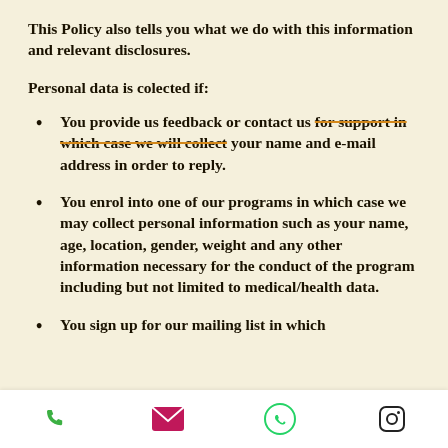This Policy also tells you what we do with this information and relevant disclosures.
Personal data is colected if:
You provide us feedback or contact us for support in which case we will collect your name and e-mail address in order to reply.
You enrol into one of our programs in which case we may collect personal information such as your name, age, location, gender, weight and any other information necessary for the conduct of the program including but not limited to medical/health data.
You sign up for our mailing list in which
Phone | Email | WhatsApp | Instagram icons